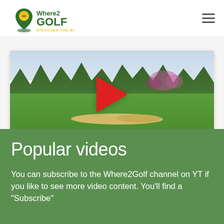[Figure (logo): Where2Golf logo with golf pin icon and 'DISCOVER THE BEST' tagline]
[Figure (screenshot): Golf course video thumbnail showing green fairway with sand bunkers, trees and plants in background, red YouTube play button overlay]
Popular videos
You can subscribe to the Where2Golf channel on YT if you like to see more video content. You'll find a "Subscribe"